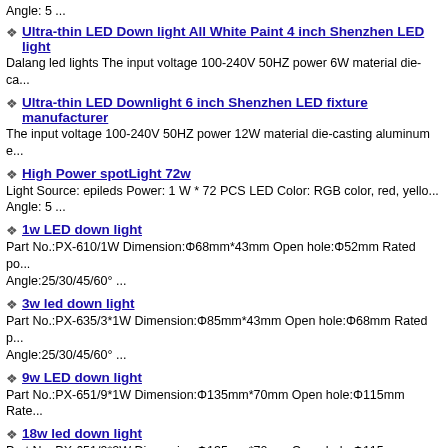Angle: 5 ...
Ultra-thin LED Down light All White Paint 4 inch Shenzhen LED light
Dalang led lights The input voltage 100-240V 50HZ power 6W material die-ca...
Ultra-thin LED Downlight 6 inch Shenzhen LED fixture manufacturer
The input voltage 100-240V 50HZ power 12W material die-casting aluminum e...
High Power spotLight 72w
Light Source: epileds Power: 1 W * 72 PCS LED Color: RGB color, red, yello...
Angle: 5 ...
1w LED down light
Part No.:PX-610/1W Dimension:Φ68mm*43mm Open hole:Φ52mm Rated po...
Angle:25/30/45/60° ...
3w led down light
Part No.:PX-635/3*1W Dimension:Φ85mm*43mm Open hole:Φ68mm Rated p...
Angle:25/30/45/60° ...
9w LED down light
Part No.:PX-651/9*1W Dimension:Φ135mm*70mm Open hole:Φ115mm Rate...
18w led down light
Part No.:PX-651/9*2W Dimension:Φ135mm*70mm Open hole:Φ115mm Rate...
200W LED Flood Light Floodlight Shenzhen lighting fixture factory
Light source：Taiwan Power：200W LED cilir：Red：Yellow：Blue：Green：White Li...
LED Flood Light 140W Shenzhen Dalan LED Light manufacturer